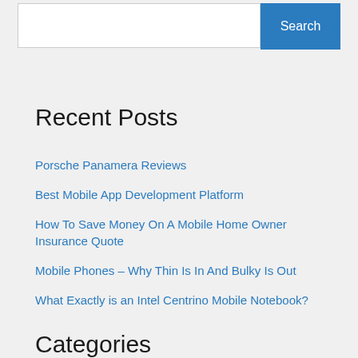Search
Porsche Panamera Reviews
Best Mobile App Development Platform
How To Save Money On A Mobile Home Owner Insurance Quote
Mobile Phones – Why Thin Is In And Bulky Is Out
What Exactly is an Intel Centrino Mobile Notebook?
Recent Posts
Categories